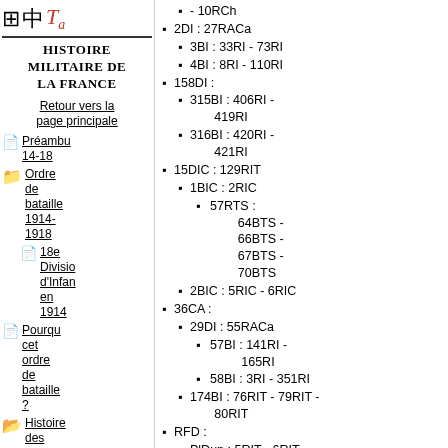Histoire militaire de la France
Retour vers la page principale
Préambu 14-18
Ordre de bataille 1914-1918
18e Division d'Infanterie en 1914
Pourquoi cet ordre de bataille ?
Histoire des...
- 10RCh
2DI : 27RACa
3BI : 33RI - 73RI
4BI : 8RI - 110RI
158DI :
315BI : 406RI - 419RI
316BI : 420RI - 421RI
15DIC : 129RIT
1BIC : 2RIC
57RTS : 64BTS - 66BTS - 67BTS - 70BTS
2BIC : 5RIC - 6RIC
36CA :
29DI : 55RACa
57BI : 141RI - 165RI
58BI : 3RI - 351RI
174BI : 76RIT - 79RIT - 80RIT
RFD :
PlDun : 5RIT - 6RIT - 7RIT - 8RIT - 10RIT
Arriere : 56BTS - 65BTS